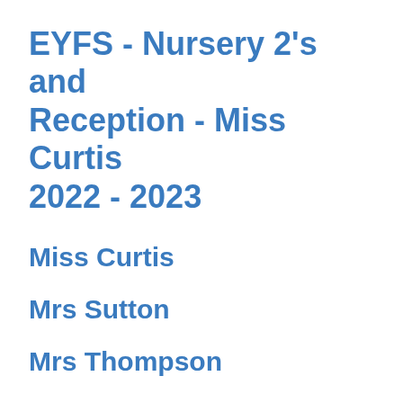EYFS - Nursery 2's and Reception - Miss Curtis 2022 - 2023
Miss Curtis
Mrs Sutton
Mrs Thompson
Mrs Smith
Governor